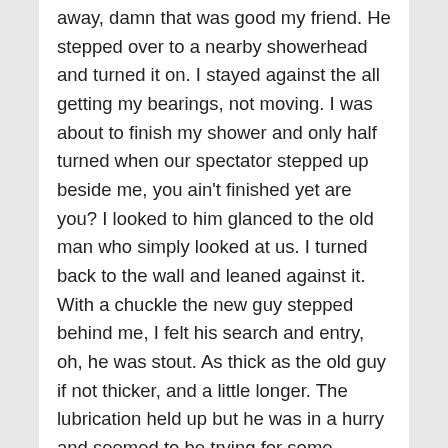away, damn that was good my friend.  He stepped over to a nearby showerhead and turned it on.  I stayed against the all getting my bearings, not moving.  I was about to finish my shower and only half turned when our spectator stepped up beside me, you ain't finished yet are you? I looked to him glanced to the old man who simply looked at us.  I turned back to the wall and leaned against it.  With a chuckle  the new guy  stepped behind me,  I felt his search and entry, oh, he was stout. As thick as the old guy if not thicker, and a little longer.  The lubrication held up but he was in a hurry and seemed to be trying for some record.  If not for the soap and lubrication left by the old guy it would have been over in a very short time, as it was within four maybe five minutes the new guy shot his wad.  !Oh, oh yeah